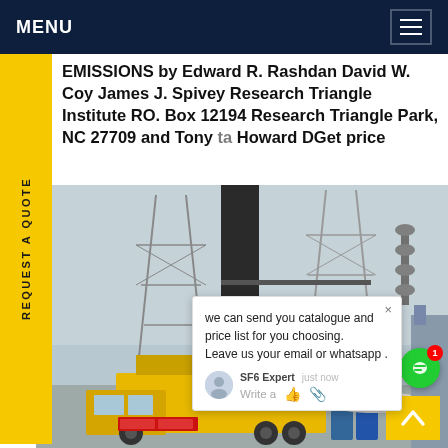MENU
EMISSIONS by Edward R. Rashdan David W. Coy James J. Spivey Research Triangle Institute RO. Box 12194 Research Triangle Park, NC 27709 and Tony ta Howard DGet price
[Figure (photo): Yellow SF6 gas recovery truck parked at an electrical substation with large transmission towers and insulators in the background. Industrial equipment visible.]
we can send you catalogue and price list for you choosing. Leave us your email or whatsapp .
SF6 Expert   just now
Write a